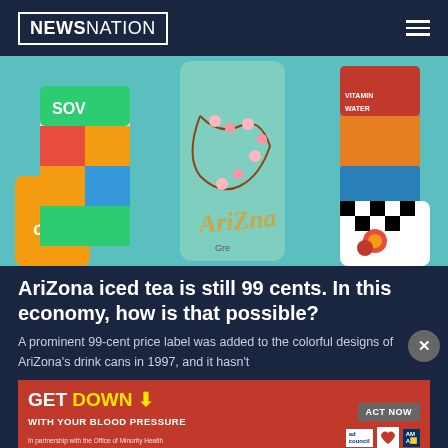NEWSNATION
[Figure (photo): Colorful AriZona iced tea cans arranged on a teal background, including a tall green AriZona Green Tea can with cherry blossoms design, a multicolored geometric pattern can, an orange AriZona can, and others.]
AriZona iced tea is still 99 cents. In this economy, how is that possible?
A prominent 99-cent price label was added to the colorful designs of AriZona's drink cans in 1997, and it hasn't
[Figure (infographic): Red advertisement banner: GET DOWN WITH YOUR BLOOD PRESSURE - ACT NOW button - logos for ad council, American Heart Association, and AMA]
YOUR MONEY